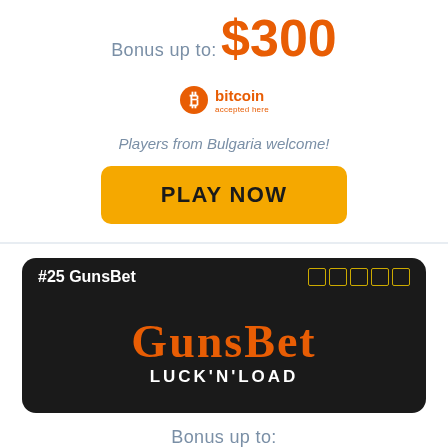Bonus up to:
$300
[Figure (logo): Bitcoin accepted here logo with orange circle B icon]
Players from Bulgaria welcome!
PLAY NOW
#25 GunsBet
[Figure (logo): GunsBet Luck'N'Load casino logo in orange and white on black background]
Bonus up to: